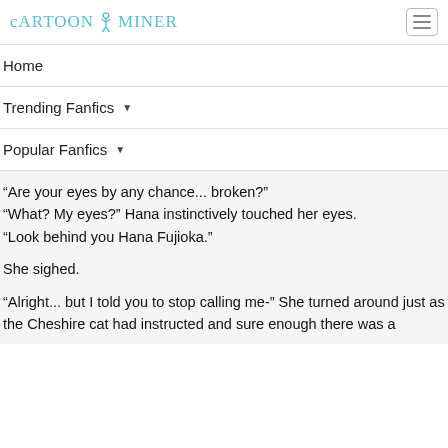CARTOON MINER
Home
Trending Fanfics ▾
Popular Fanfics ▾
“Are your eyes by any chance... broken?”
“What? My eyes?” Hana instinctively touched her eyes.
“Look behind you Hana Fujioka.”

She sighed.

“Alright... but I told you to stop calling me-” She turned around just as the Cheshire cat had instructed and sure enough there was a